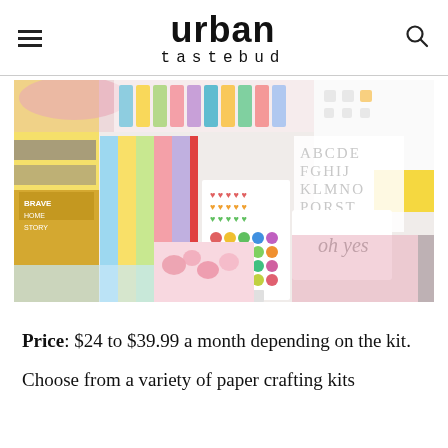urban tastebud
[Figure (photo): Collage of scrapbooking and paper crafting kit items including colored papers, stickers, alphabet letters, floral patterns, and embellishments in pastel colors.]
Price: $24 to $39.99 a month depending on the kit.
Choose from a variety of paper crafting kits